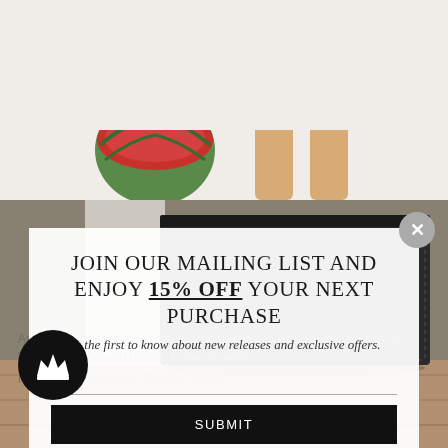[Figure (photo): Top background photo showing a halved watermelon used as a bowl with a drink, and two glass bottles with juice, with a green plant visible at top right, on a white surface.]
[Figure (photo): Bottom background photo showing a close-up of a dark leather bag or portfolio with stitching detail and a small embossed logo, on a wooden surface.]
JOIN OUR MAILING LIST AND ENJOY 15% OFF YOUR NEXT PURCHASE
Be the first to know about new releases and exclusive offers.
Aside from these drinks to go to, you should definitely try making our . Its Watermelon Daiquiri recipe. Yr the Strawberry
More info: Watermelon Daiquiri Recipe:
[Figure (logo): Black circular badge with a white crown icon inside.]